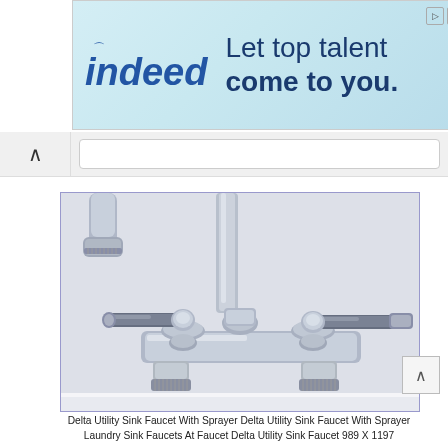[Figure (photo): Indeed advertisement banner with logo and tagline 'Let top talent come to you.' on a light blue-green gradient background.]
[Figure (photo): Close-up photograph of a chrome Delta utility sink faucet with sprayer, showing two lever handles and the faucet body mounted on a base.]
Delta Utility Sink Faucet With Sprayer Delta Utility Sink Faucet With Sprayer Laundry Sink Faucets At Faucet Delta Utility Sink Faucet 989 X 1197